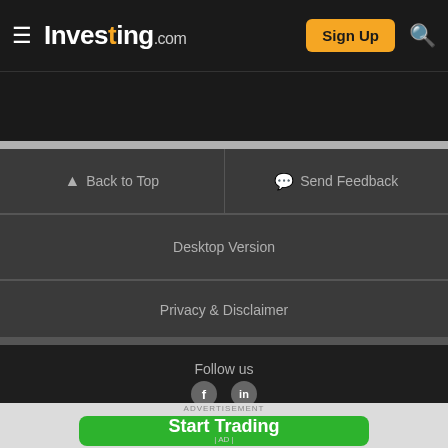Investing.com — Sign Up
Primary Health Properties (PHP)
Back to Top
Send Feedback
Desktop Version
Change Edition
Privacy & Disclaimer
Follow us
[Figure (screenshot): Social media icon circles (Facebook, Twitter)]
ADVERTISEMENT
Start Trading | AD |